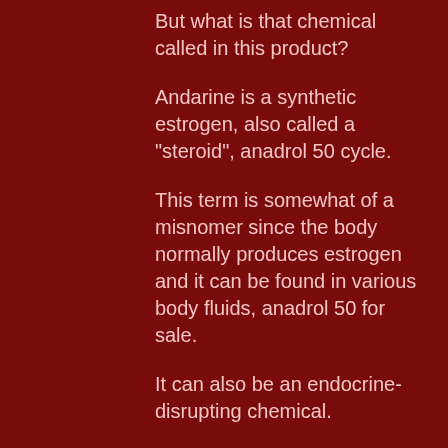But what is that chemical called in this product?
Andarine is a synthetic estrogen, also called a "steroid", anadrol 50 cycle.
This term is somewhat of a misnomer since the body normally produces estrogen and it can be found in various body fluids, anadrol 50 for sale.
It can also be an endocrine-disrupting chemical.
However, Andarine is a common ingredient found in a variety of commercial body conditioners, so it's commonly labeled as an "eroid."
However, the FDA has no hard evidence to support its safety for women with healthy or